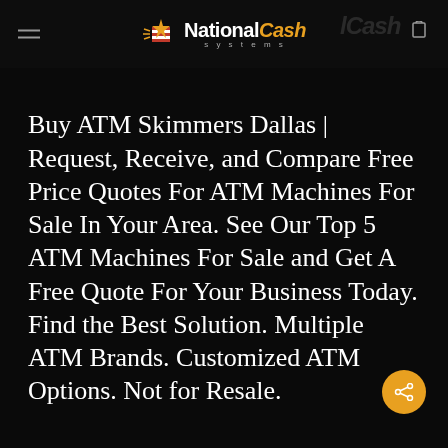National Cash Systems
Buy ATM Skimmers Dallas | Request, Receive, and Compare Free Price Quotes For ATM Machines For Sale In Your Area. See Our Top 5 ATM Machines For Sale and Get A Free Quote For Your Business Today. Find the Best Solution. Multiple ATM Brands. Customized ATM Options. Not for Resale.